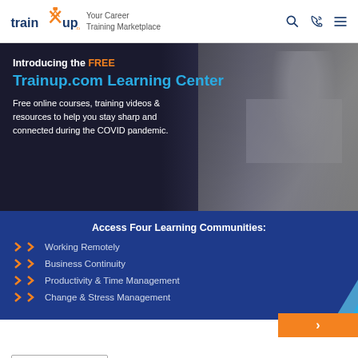[Figure (logo): TrainUp.com logo with orange figure and tagline 'Your Career Training Marketplace']
[Figure (infographic): Banner promoting free Trainup.com Learning Center with woman on laptop in background. Text: 'Introducing the FREE Trainup.com Learning Center. Free online courses, training videos & resources to help you stay sharp and connected during the COVID pandemic.']
Access Four Learning Communities:
Working Remotely
Business Continuity
Productivity & Time Management
Change & Stress Management
Course ID: 292182   LIVE TRAINING COURSE
Insurance Bad Faith: Detangling Privilege and Other Discovery Problems